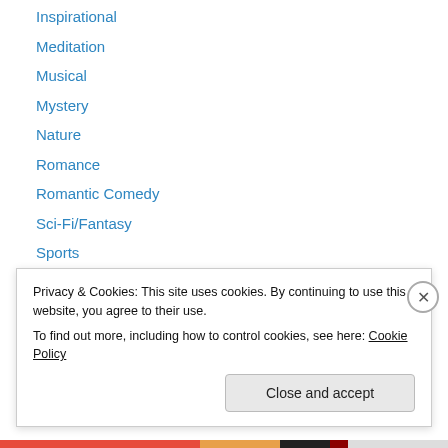Inspirational
Meditation
Musical
Mystery
Nature
Romance
Romantic Comedy
Sci-Fi/Fantasy
Sports
Theatrical Production
Thriller
TV Adventure
TV Animation
TV Comedy
Privacy & Cookies: This site uses cookies. By continuing to use this website, you agree to their use.
To find out more, including how to control cookies, see here: Cookie Policy
Close and accept